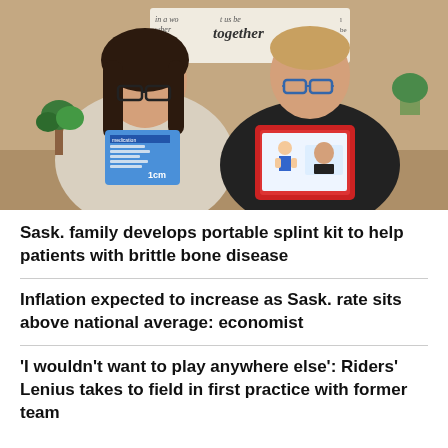[Figure (photo): A woman and a teenage boy sitting together indoors, both wearing glasses and smiling. The woman holds a blue medical package and the boy holds a red kit/case. On the wall behind them is a sign reading 'let us be together'. The room has a warm tan/beige background with plants and picture frames visible.]
Sask. family develops portable splint kit to help patients with brittle bone disease
Inflation expected to increase as Sask. rate sits above national average: economist
'I wouldn't want to play anywhere else': Riders' Lenius takes to field in first practice with former team